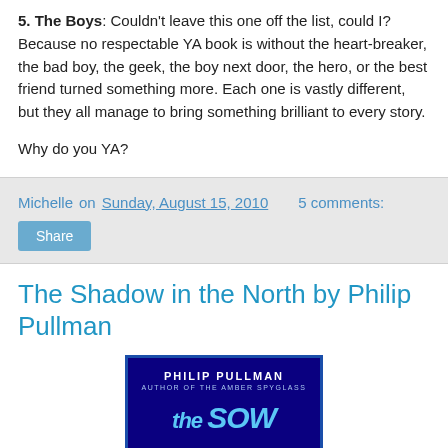5. The Boys: Couldn't leave this one off the list, could I? Because no respectable YA book is without the heart-breaker, the bad boy, the geek, the boy next door, the hero, or the best friend turned something more. Each one is vastly different, but they all manage to bring something brilliant to every story.
Why do you YA?
Michelle on Sunday, August 15, 2010   5 comments: Share
The Shadow in the North by Philip Pullman
[Figure (photo): Book cover of The Shadow in the North by Philip Pullman, showing a dark blue cover with the author name PHILIP PULLMAN at the top, subtitle AUTHOR OF THE AMBER SPYGLASS, and partial title text visible at the bottom.]